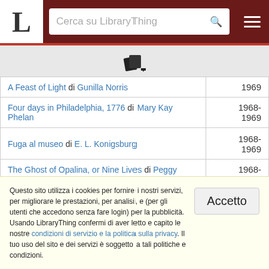[Figure (screenshot): LibraryThing website screenshot showing search bar and navigation]
| Book | Year |
| --- | --- |
| A Feast of Light di Gunilla Norris | 1969 |
| Four days in Philadelphia, 1776 di Mary Kay Phelan | 1968-1969 |
| Fuga al museo di E. L. Konigsburg | 1968-1969 |
| The Ghost of Opalina, or Nine Lives di Peggy Bacon | 1968-1969 |
| The Great Brain di John D. Fitzgerald | 1968-1969 |
Questo sito utilizza i cookies per fornire i nostri servizi, per migliorare le prestazioni, per analisi, e (per gli utenti che accedono senza fare login) per la pubblicità. Usando LibraryThing confermi di aver letto e capito le nostre condizioni di servizio e la politica sulla privacy. Il tuo uso del sito e dei servizi è soggetto a tali politiche e condizioni.